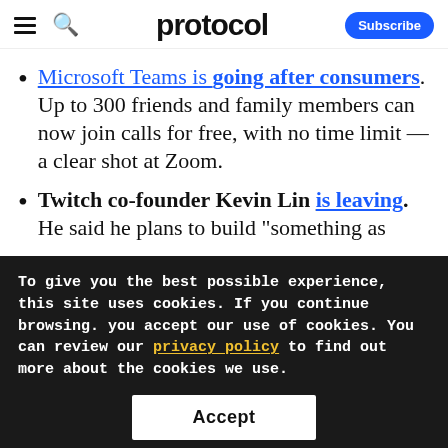protocol
Microsoft Teams is going after consumers. Up to 300 friends and family members can now join calls for free, with no time limit — a clear shot at Zoom.
Twitch co-founder Kevin Lin is leaving. He said he plans to build "something as [clipped]
To give you the best possible experience, this site uses cookies. If you continue browsing. you accept our use of cookies. You can review our privacy policy to find out more about the cookies we use.
Accept